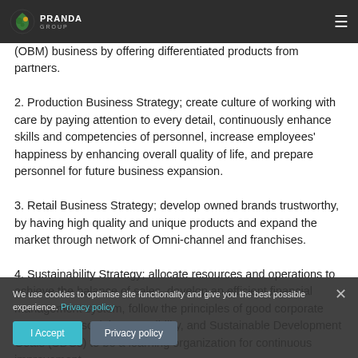Pranda Group
(OBM) business by offering differentiated products from partners.
2. Production Business Strategy; create culture of working with care by paying attention to every detail, continuously enhance skills and competencies of personnel, increase employees' happiness by enhancing overall quality of life, and prepare personnel for future business expansion.
3. Retail Business Strategy; develop owned brands trustworthy, by having high quality and unique products and expand the market through network of Omni-channel and franchises.
4. Sustainability Strategy; allocate resources and operations to achieve the balance of sales, develop an efficient financial management system, follow the principles of good corporate governance, social responsibility, and Sustainable Development Goals (SDGs) to be a learning organization for continuous improvement.
The shareholders attending the meeting had followed the